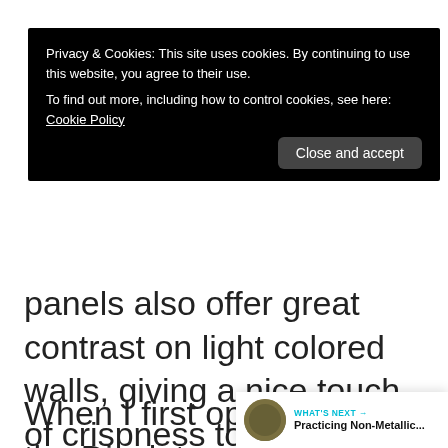Privacy & Cookies: This site uses cookies. By continuing to use this website, you agree to their use.
To find out more, including how to control cookies, see here: Cookie Policy
panels also offer great contrast on light colored walls, giving a nice touch of crispness to your room.
When I first opened the Displate metal poster, I was impressed with how heavy duty it felt in my hand. It wasn't a flimsy print at all. The weight and